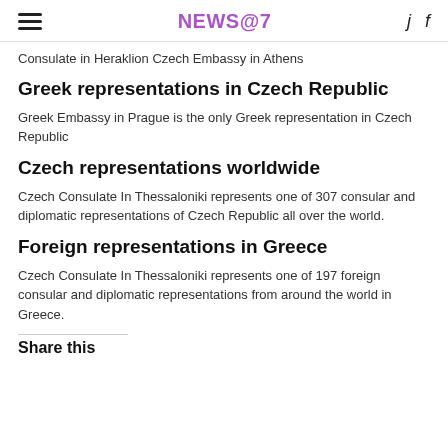NEWS@7
Consulate in Heraklion Czech Embassy in Athens
Greek representations in Czech Republic
Greek Embassy in Prague is the only Greek representation in Czech Republic
Czech representations worldwide
Czech Consulate In Thessaloniki represents one of 307 consular and diplomatic representations of Czech Republic all over the world.
Foreign representations in Greece
Czech Consulate In Thessaloniki represents one of 197 foreign consular and diplomatic representations from around the world in Greece.
Share this